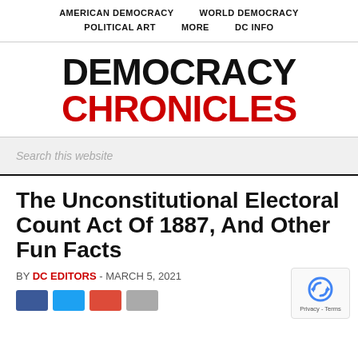AMERICAN DEMOCRACY   WORLD DEMOCRACY   POLITICAL ART   MORE   DC INFO
DEMOCRACY CHRONICLES
Search this website
The Unconstitutional Electoral Count Act Of 1887, And Other Fun Facts
BY DC EDITORS - MARCH 5, 2021